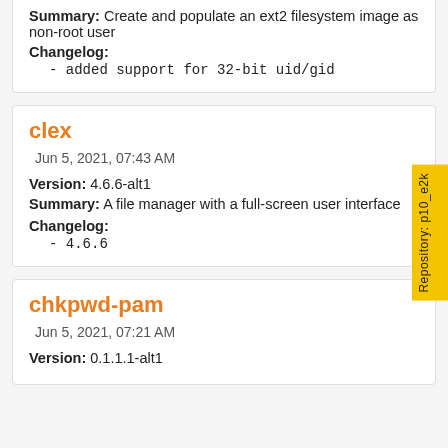Summary: Create and populate an ext2 filesystem image as non-root user
Changelog:
- added support for 32-bit uid/gid
clex
Jun 5, 2021, 07:43 AM
Version: 4.6.6-alt1
Summary: A file manager with a full-screen user interface
Changelog:
- 4.6.6
chkpwd-pam
Jun 5, 2021, 07:21 AM
Version: 0.1.1.1-alt1